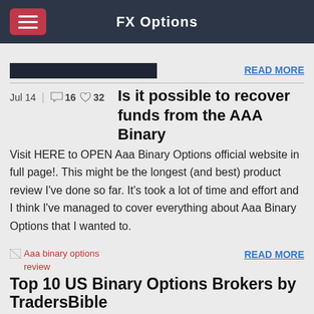FX Options
[Figure (screenshot): Dark banner/thumbnail image of a website]
READ MORE
Jul 14  16  32
Is it possible to recover funds from the AAA Binary
Visit HERE to OPEN Aaa Binary Options official website in full page!. This might be the longest (and best) product review I've done so far. It's took a lot of time and effort and I think I've managed to cover everything about Aaa Binary Options that I wanted to.
[Figure (screenshot): Aaa binary options review image placeholder]
READ MORE
Top 10 US Binary Options Brokers by TradersBible
AAA FX – Review and Test. AAA FX offers the following methods for